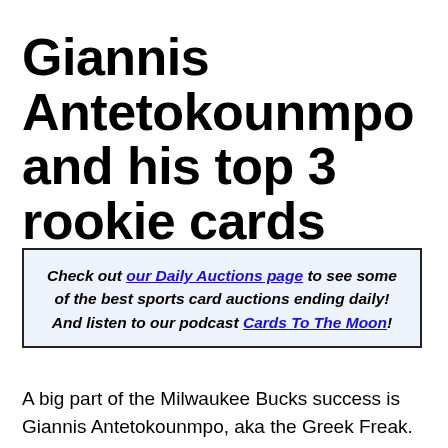Giannis Antetokounmpo and his top 3 rookie cards
Check out our Daily Auctions page to see some of the best sports card auctions ending daily! And listen to our podcast Cards To The Moon!
A big part of the Milwaukee Bucks success is Giannis Antetokounmpo, aka the Greek Freak.